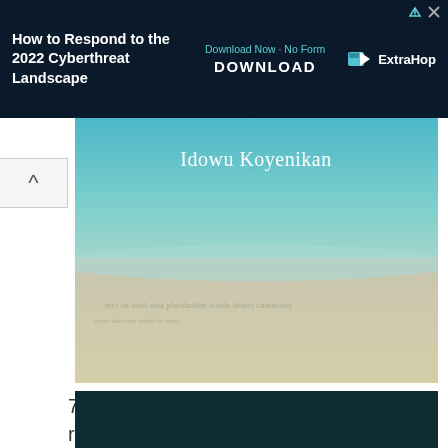[Figure (other): Advertisement banner: 'How to Respond to the 2022 Cyberthreat Landscape' with Download Now button and ExtraHop logo on dark navy background]
[Figure (photo): Beach/ocean scene with 'Idowu Koyenikan' text overlay, showing sandy beach and water]
7. Let your creative and imaginative mind run freely; it will take you places you never dreamed of and provide breakthroughs that others once thought were impossible. - Idowu Koyenikan
[Figure (photo): Dark teal/green image at bottom of page, partially visible]